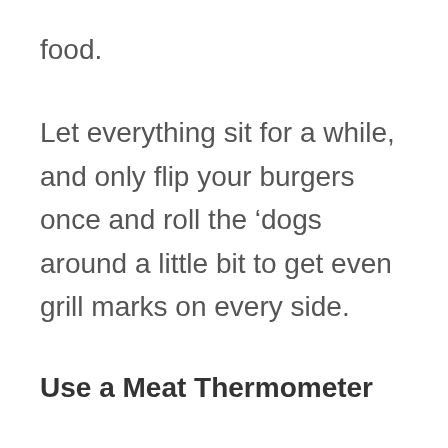food.
Let everything sit for a while, and only flip your burgers once and roll the ‘dogs around a little bit to get even grill marks on every side.
Use a Meat Thermometer
Experienced grillmasters may be able to tell when a meat is done by touching it, but that’s not the case for everyone. To prevent foodborne illnesses, one of our